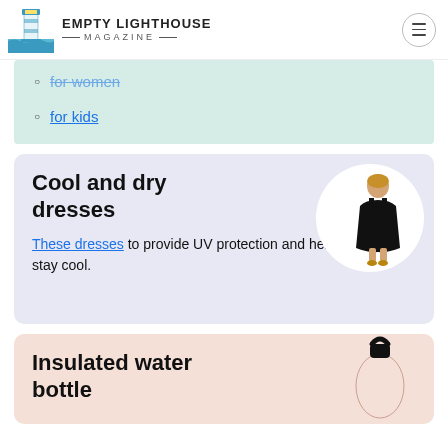EMPTY LIGHTHOUSE MAGAZINE
for women (strikethrough)
for kids
Cool and dry dresses
These dresses to provide UV protection and help you stay cool.
[Figure (photo): Woman wearing a black sleeveless dress, shown in a circular white frame]
Insulated water bottle
[Figure (photo): Black insulated water bottle shown in a circular/oval frame on the pink card]